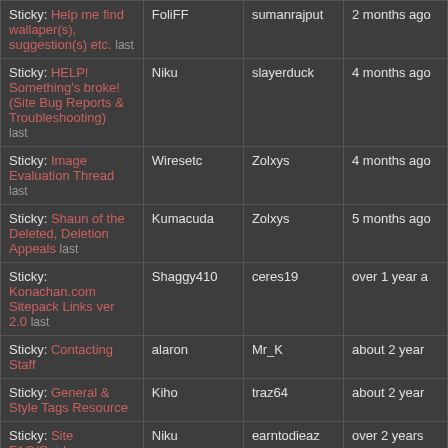| Topic | Started by | Last reply by | Last reply time |
| --- | --- | --- | --- |
| Sticky: Help me find wallaper(s), suggestion(s) etc. last | FoliFF | sumanrajput | 2 months ago |
| Sticky: HELP! Something's broke! (Site Bug Reports & Troubleshooting) last | Niku | slayerduck | 4 months ago |
| Sticky: Image Evaluation Thread last | Wiresetc | Zolxys | 4 months ago |
| Sticky: Shaun of the Deleted, Deletion Appeals last | Kumacuda | Zolxys | 5 months ago |
| Sticky: Konachan.com Sitepack Links ver 2.0 last | Shaggy410 | ceres19 | over 1 year ago |
| Sticky: Contacting Staff | alaron | Mr_K | about 2 years |
| Sticky: General & Style Tags Resource | Kiho | traz64 | about 2 years |
| Sticky: Site FAQ/Guide | Niku | earntodieaz | over 2 years |